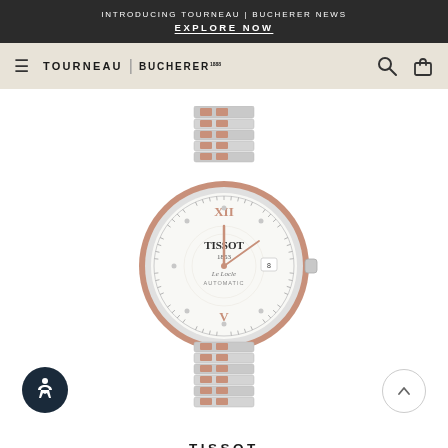INTRODUCING TOURNEAU | BUCHERER NEWS
EXPLORE NOW
[Figure (screenshot): Tourneau | Bucherer navigation bar with hamburger menu, logo, search and bag icons on a beige background]
[Figure (photo): Tissot Le Locle Automatic ladies watch with two-tone rose gold and stainless steel bracelet, white dial with Roman numerals XII and V in rose gold, diamond hour markers, date window at 3 o'clock, Tissot 1853 branding on dial]
TISSOT